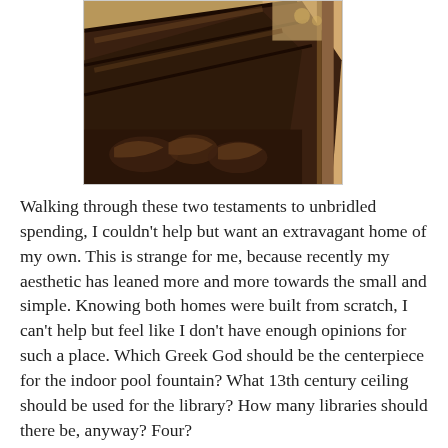[Figure (photo): Close-up photograph of an ornately carved dark wooden staircase with acanthus leaf scroll decoration, shot from below at an angle, with warm golden wall visible in background.]
Walking through these two testaments to unbridled spending, I couldn't help but want an extravagant home of my own. This is strange for me, because recently my aesthetic has leaned more and more towards the small and simple. Knowing both homes were built from scratch, I can't help but feel like I don't have enough opinions for such a place. Which Greek God should be the centerpiece for the indoor pool fountain? What 13th century ceiling should be used for the library? How many libraries should there be, anyway? Four?

I should start looking for an architect now.